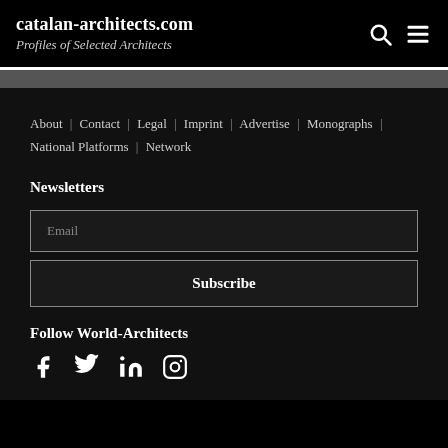catalan-architects.com
Profiles of Selected Architects
About | Contact | Legal | Imprint | Advertise | Monographs | National Platforms | Network
Newsletters
Email
Subscribe
Follow World-Architects
[Figure (other): Social media icons: Facebook, Twitter, LinkedIn, Instagram]